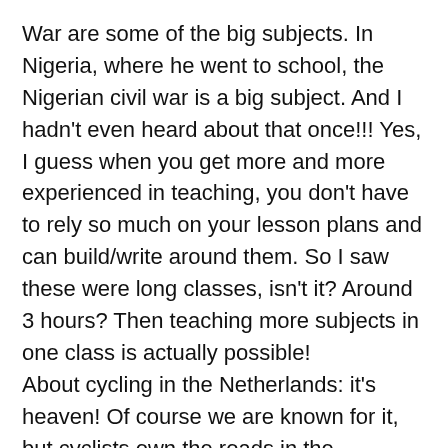War are some of the big subjects. In Nigeria, where he went to school, the Nigerian civil war is a big subject. And I hadn't even heard about that once!!! Yes, I guess when you get more and more experienced in teaching, you don't have to rely so much on your lesson plans and can build/write around them. So I saw these were long classes, isn't it? Around 3 hours? Then teaching more subjects in one class is actually possible!
About cycling in the Netherlands: it's heaven! Of course we are known for it, but cyclists own the roads in the Netherlands! I am 25 and I don't even drive a car! It is possible to get everywhere without (also because of good public transport, I have to say 🤔). Some background information: the Netherlands has more bikes than people (around 23 million bikes vs. 17.5 million people). Only China